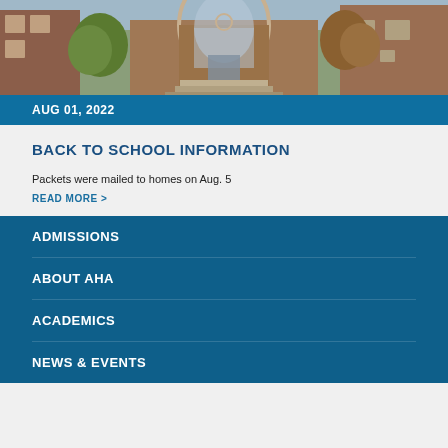[Figure (photo): Exterior photo of a school building with brick facade and arched Gothic-style entrance, trees visible on both sides]
AUG 01, 2022
BACK TO SCHOOL INFORMATION
Packets were mailed to homes on Aug. 5
READ MORE >
ADMISSIONS
ABOUT AHA
ACADEMICS
NEWS & EVENTS